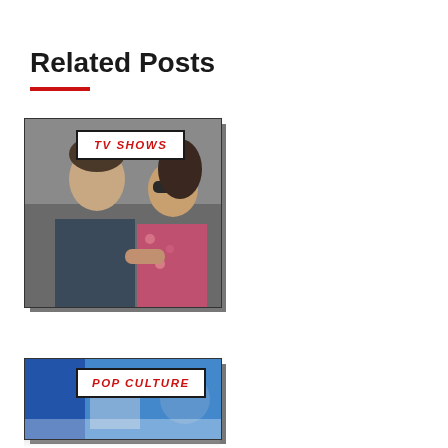Related Posts
[Figure (photo): Photo of a man and woman, with a 'TV SHOWS' category badge overlay]
[Figure (photo): Photo with a 'POP CULTURE' category badge overlay, partially visible at bottom]